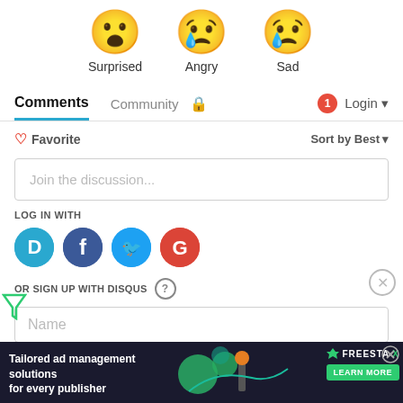[Figure (infographic): Three emoji reaction icons: Surprised (wide-eyed face), Angry (crying face), Sad (face with single tear). Labels below each emoji.]
Comments  Community  [lock icon]  [notification badge: 1]  Login
♡ Favorite    Sort by Best ▾
Join the discussion...
LOG IN WITH
[Figure (infographic): Social login icons: Disqus (D, blue), Facebook (f, dark blue), Twitter (bird, light blue), Google (G, red)]
OR SIGN UP WITH DISQUS ?
Name
[Figure (infographic): Advertisement banner: 'Tailored ad management solutions for every publisher' with FREESTA branding and LEARN MORE button. Close X button top right.]